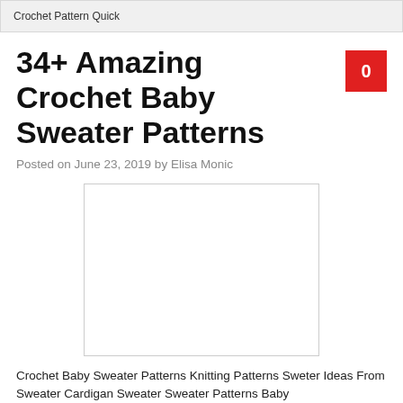Crochet Pattern Quick
34+ Amazing Crochet Baby Sweater Patterns
Posted on June 23, 2019 by Elisa Monic
[Figure (photo): Placeholder image for crochet baby sweater patterns]
Crochet Baby Sweater Patterns Knitting Patterns Sweter Ideas From Sweater Cardigan Sweater Sweater Patterns Baby